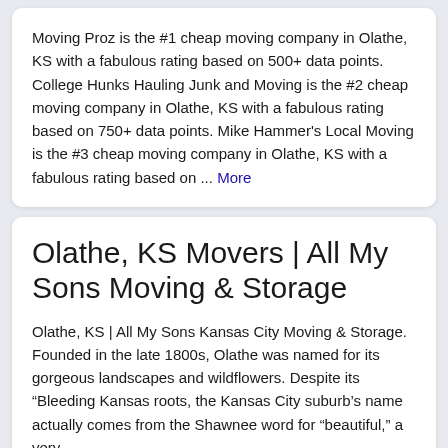Moving Proz is the #1 cheap moving company in Olathe, KS with a fabulous rating based on 500+ data points. College Hunks Hauling Junk and Moving is the #2 cheap moving company in Olathe, KS with a fabulous rating based on 750+ data points. Mike Hammer's Local Moving is the #3 cheap moving company in Olathe, KS with a fabulous rating based on ... More
Olathe, KS Movers | All My Sons Moving & Storage
Olathe, KS | All My Sons Kansas City Moving & Storage. Founded in the late 1800s, Olathe was named for its gorgeous landscapes and wildflowers. Despite its “Bleeding Kansas roots, the Kansas City suburb’s name actually comes from the Shawnee word for “beautiful,” a very